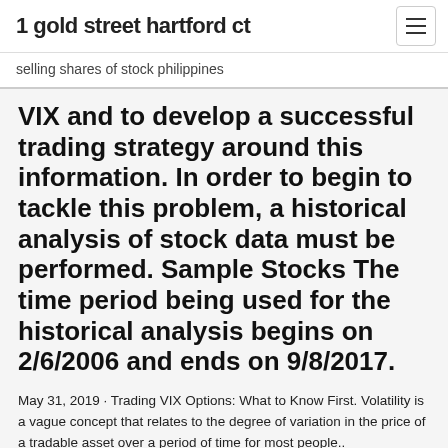1 gold street hartford ct
selling shares of stock philippines
VIX and to develop a successful trading strategy around this information. In order to begin to tackle this problem, a historical analysis of stock data must be performed. Sample Stocks The time period being used for the historical analysis begins on 2/6/2006 and ends on 9/8/2017.
May 31, 2019 · Trading VIX Options: What to Know First. Volatility is a vague concept that relates to the degree of variation in the price of a tradable asset over a period of time for most people..